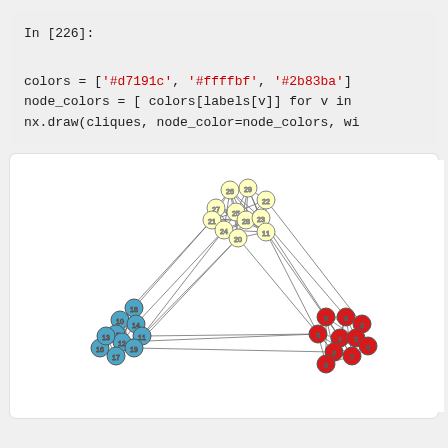In [226]:

colors = ['#d7191c', '#ffffbf', '#2b83ba']
node_colors = [ colors[labels[v]] for v in
nx.draw(cliques, node_color=node_colors, wi
[Figure (network-graph): A network graph showing three clusters of nodes: yellow nodes (numbered 20-29) at top center, blue nodes (numbered 10-19) at bottom left, and red nodes (numbered 1-9) at bottom right. Nodes are interconnected with edges within and between clusters forming clique-like structures.]